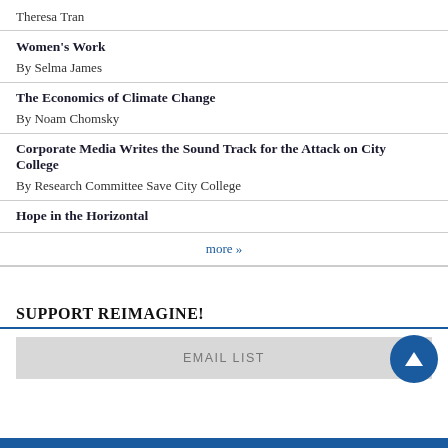Theresa Tran
Women's Work
By Selma James
The Economics of Climate Change
By Noam Chomsky
Corporate Media Writes the Sound Track for the Attack on City College
By Research Committee Save City College
Hope in the Horizontal
more »
SUPPORT REIMAGINE!
EMAIL LIST